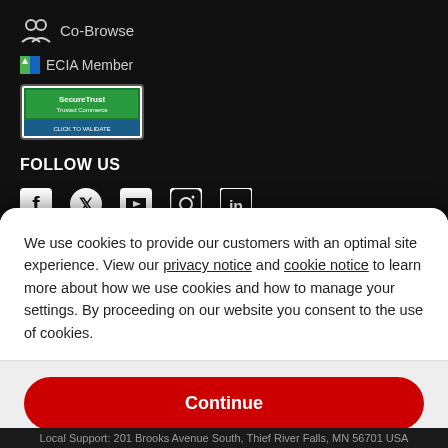Co-Browse
[Figure (logo): ECIA Member logo with green/blue icon]
[Figure (logo): SecureTrust Trusted Commerce - Click to Validate badge]
FOLLOW US
[Figure (illustration): Social media icons: Facebook, Twitter, YouTube, Instagram, LinkedIn]
We use cookies to provide our customers with an optimal site experience. View our privacy notice and cookie notice to learn more about how we use cookies and how to manage your settings. By proceeding on our website you consent to the use of cookies.
Continue
Exit
Privacy Notice
Local Support: 201 Brooks Avenue South, Thief River Falls, MN 56701 USA